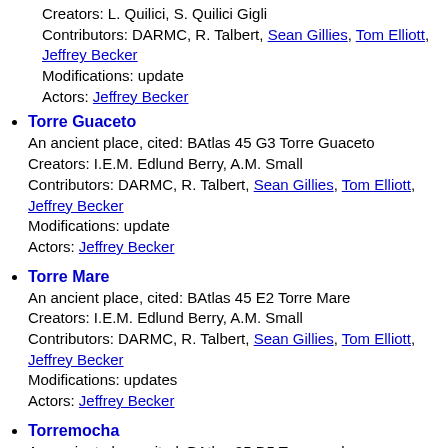Creators: L. Quilici, S. Quilici Gigli
Contributors: DARMC, R. Talbert, Sean Gillies, Tom Elliott, Jeffrey Becker
Modifications: update
Actors: Jeffrey Becker
Torre Guaceto
An ancient place, cited: BAtlas 45 G3 Torre Guaceto
Creators: I.E.M. Edlund Berry, A.M. Small
Contributors: DARMC, R. Talbert, Sean Gillies, Tom Elliott, Jeffrey Becker
Modifications: update
Actors: Jeffrey Becker
Torre Mare
An ancient place, cited: BAtlas 45 E2 Torre Mare
Creators: I.E.M. Edlund Berry, A.M. Small
Contributors: DARMC, R. Talbert, Sean Gillies, Tom Elliott, Jeffrey Becker
Modifications: updates
Actors: Jeffrey Becker
Torremocha
An ancient place, cited: BAtlas 25 D5 Torremocha
Creators: H.S. Sivan, S.J. Keay, R.W. Mathisen
Contributors: DARMC, R. Talbert, Sean Gillies, T...